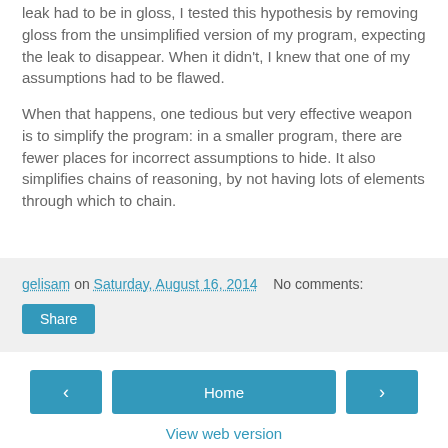leak had to be in gloss, I tested this hypothesis by removing gloss from the unsimplified version of my program, expecting the leak to disappear. When it didn't, I knew that one of my assumptions had to be flawed.
When that happens, one tedious but very effective weapon is to simplify the program: in a smaller program, there are fewer places for incorrect assumptions to hide. It also simplifies chains of reasoning, by not having lots of elements through which to chain.
gelisam on Saturday, August 16, 2014   No comments:
Share
Home
View web version
Powered by Blogger.